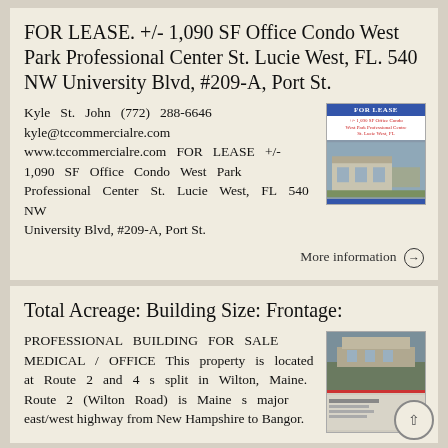FOR LEASE. +/- 1,090 SF Office Condo West Park Professional Center St. Lucie West, FL. 540 NW University Blvd, #209-A, Port St.
Kyle St. John (772) 288-6646 kyle@tccommercialre.com www.tccommercialre.com FOR LEASE +/- 1,090 SF Office Condo West Park Professional Center St. Lucie West, FL 540 NW University Blvd, #209-A, Port St.
[Figure (photo): Property listing flyer image showing FOR LEASE banner and building photo]
More information →
Total Acreage: Building Size: Frontage:
PROFESSIONAL BUILDING FOR SALE MEDICAL / OFFICE This property is located at Route 2 and 4 s split in Wilton, Maine. Route 2 (Wilton Road) is Maine s major east/west highway from New Hampshire to Bangor.
[Figure (photo): Property listing image showing building exterior and listing details]